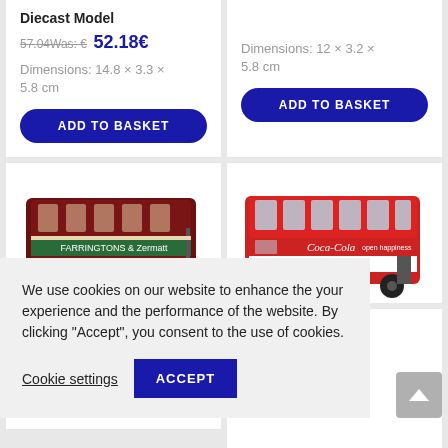Diecast Model
57.04 Was: € 52.18€
Dimensions: 14.8 × 3.3 × 5.8 cm
ADD TO BASKET
Dimensions: 12 × 3.2 × 5.8 cm
ADD TO BASKET
[Figure (photo): Diecast model of a dark red double-decker London bus with FARRINGTONS destination sign]
[Figure (photo): Diecast model of a red double-decker bus with Coca-Cola open happiness livery]
6
er LTZ 1148
' Kings Cross
48.54€
We use cookies on our website to enhance the your experience and the performance of the website. By clicking "Accept", you consent to the use of cookies.
Cookie settings
ACCEPT
5.8 cm